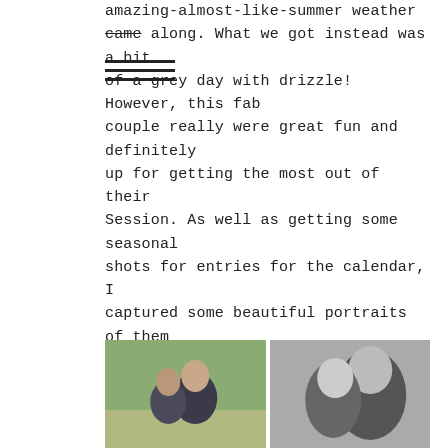amazing-almost-like-summer weather came along. What we got instead was a bit of a grey day with drizzle! However, this fab couple really were great fun and definitely up for getting the most out of their Session. As well as getting some seasonal shots for entries for the calendar, I captured some beautiful portraits of them together. Here are some of my favourites - isn't this bump just gorgeous!

For further information on Count the Kicks, please visit: www.countthekicks.org.uk
[Figure (photo): Two side-by-side photos of a couple: left photo is in color showing a man and woman outdoors in a green field; right photo is black and white showing the same or similar couple close together.]